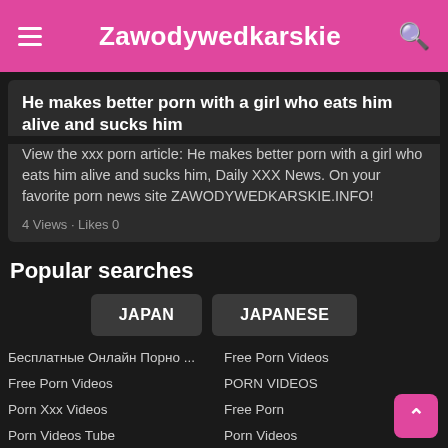Zawodywedkarskie
He makes better porn with a girl who eats him alive and sucks him
View the xxx porn article: He makes better porn with a girl who eats him alive and sucks him, Daily XXX News. On your favorite porn news site ZAWODYWEDKARSKIE.INFO!
4 Views · Likes 0
Popular searches
JAPAN
JAPANESE
Бесплатные Онлайн Порно ...
Free Porn Videos
Free Porn Videos
PORN VIDEOS
Porn Xxx Videos
Free Porn
Porn Videos Tube
Porn Videos
XXX Cartoon Porn
Porn Videos
Porno Videolar
Xxx Porn Videos